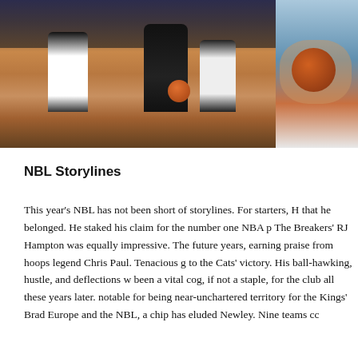[Figure (photo): Basketball action photo showing a player in a dark uniform dribbling past defenders during an NBL game with a crowd in the background]
[Figure (photo): Close-up photo of hands holding a basketball]
NBL Storylines
This year's NBL has not been short of storylines. For starters, H that he belonged. He staked his claim for the number one NBA p The Breakers' RJ Hampton was equally impressive. The future years, earning praise from hoops legend Chris Paul. Tenacious g to the Cats' victory. His ball-hawking, hustle, and deflections w been a vital cog, if not a staple, for the club all these years later. notable for being near-unchartered territory for the Kings' Brad Europe and the NBL, a chip has eluded Newley. Nine teams cc